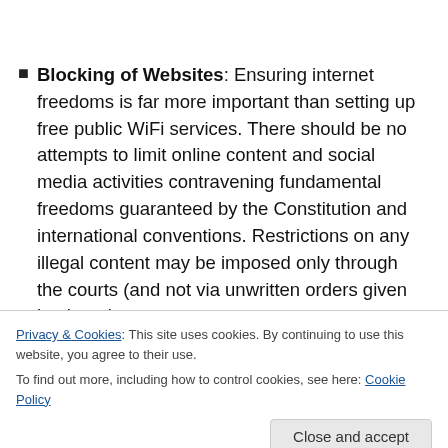Blocking of Websites: Ensuring internet freedoms is far more important than setting up free public WiFi services. There should be no attempts to limit online content and social media activities contravening fundamental freedoms guaranteed by the Constitution and international conventions. Restrictions on any illegal content may be imposed only through the courts (and not via unwritten orders given by the telecom
Privacy & Cookies: This site uses cookies. By continuing to use this website, you agree to their use.
To find out more, including how to control cookies, see here: Cookie Policy
Privacy and Surveillance: The state should protect